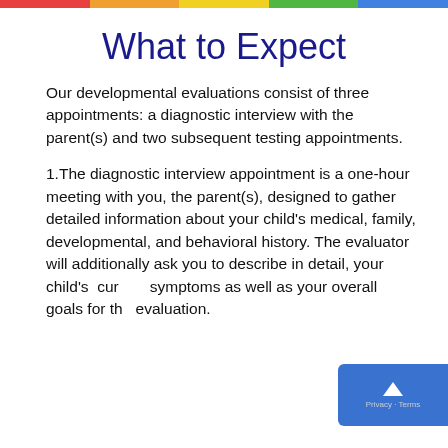What to Expect
Our developmental evaluations consist of three appointments: a diagnostic interview with the parent(s) and two subsequent testing appointments.
1.The diagnostic interview appointment is a one-hour meeting with you, the parent(s), designed to gather detailed information about your child's medical, family, developmental, and behavioral history. The evaluator will additionally ask you to describe in detail, your child's  current symptoms as well as your overall goals for the evaluation.